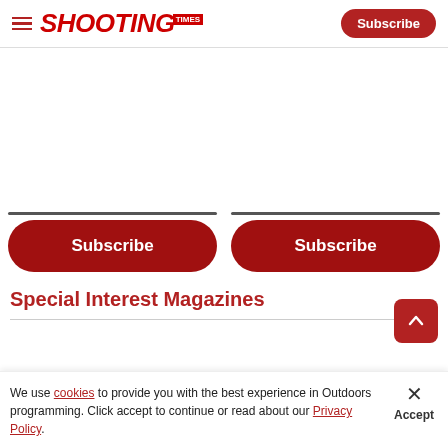Shooting Times — Subscribe
Subscribe | Subscribe
Special Interest Magazines
We use cookies to provide you with the best experience in Outdoors programming. Click accept to continue or read about our Privacy Policy.